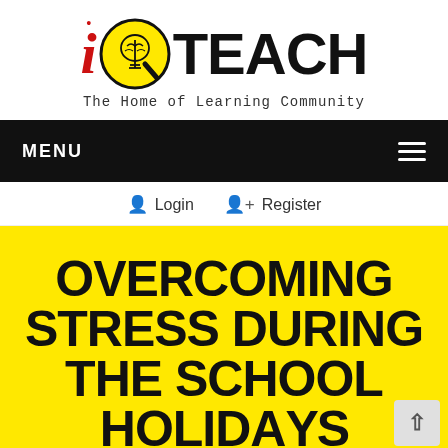[Figure (logo): iQTeach logo with red italic i, yellow circle with brain/lightbulb Q icon, and bold TEACH text]
The Home of Learning Community
MENU
Login   Register
OVERCOMING STRESS DURING THE SCHOOL HOLIDAYS